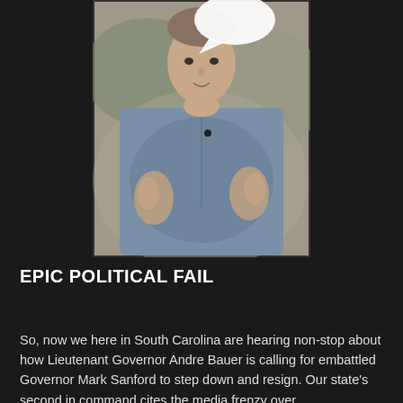[Figure (photo): A man in a blue collared shirt with hands raised gesturing, with a speech bubble visible in the upper portion of the image. Dark background surrounds the photo.]
EPIC POLITICAL FAIL
So, now we here in South Carolina are hearing non-stop about how Lieutenant Governor Andre Bauer is calling for embattled Governor Mark Sanford to step down and resign. Our state's second in command cites the media frenzy over